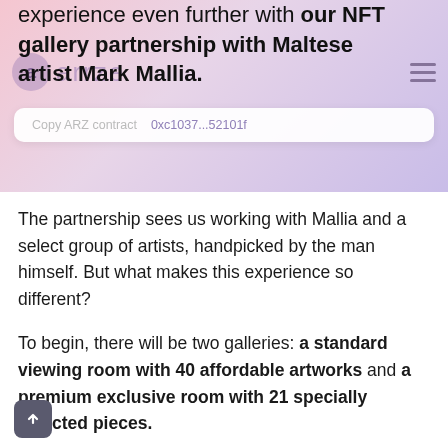experience even further with our NFT gallery partnership with Maltese artist Mark Mallia.
Copy ARZ contract   0xc1037...52101f
The partnership sees us working with Mallia and a select group of artists, handpicked by the man himself. But what makes this experience so different?
To begin, there will be two galleries: a standard viewing room with 40 affordable artworks and a premium exclusive room with 21 specially selected pieces.
Second, anyone who visits the gallery can use our cutting-edge technology to see a piece not only in full 3D/AR, but also in your own space, whether it's your home, a public space, or your own private gallery. It will be represented proportionally on any handheld device